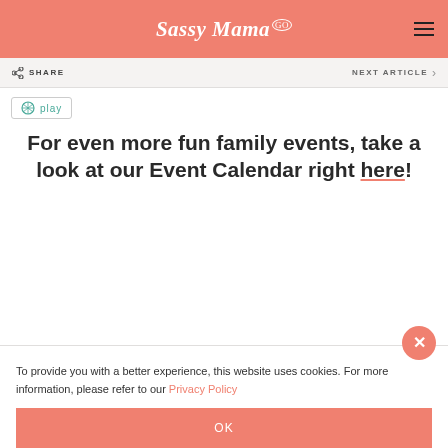Sassy Mama GO
SHARE   NEXT ARTICLE
play
For even more fun family events, take a look at our Event Calendar right here!
To provide you with a better experience, this website uses cookies. For more information, please refer to our Privacy Policy
OK